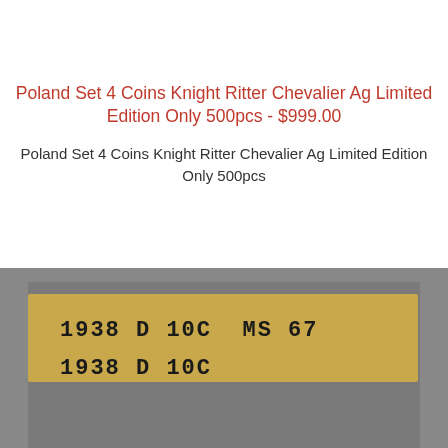Poland Set 4 Coins Knight Ritter Chevalier Ag Limited Edition Only 500pcs - $999.00
Poland Set 4 Coins Knight Ritter Chevalier Ag Limited Edition Only 500pcs
[Figure (photo): Close-up photograph of a coin label/slab showing text '1938 D 10C MS 67' on a gold/yellow background inside a grey plastic case, with partial text '1938 D 10C' visible below.]